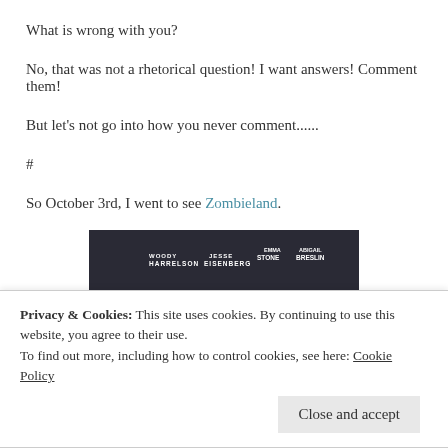What is wrong with you?
No, that was not a rhetorical question! I want answers! Comment them!
But let's not go into how you never comment......
#
So October 3rd, I went to see Zombieland.
[Figure (photo): Zombieland movie poster showing the title 'ZOMBIELAND' with cast names WOODY HARRELSON, JESSE EISENBERG, EMMA STONE, ABIGAIL BRESLIN and tagline 'NUT UP OR SHUT UP']
Privacy & Cookies: This site uses cookies. By continuing to use this website, you agree to their use.
To find out more, including how to control cookies, see here: Cookie Policy
Close and accept